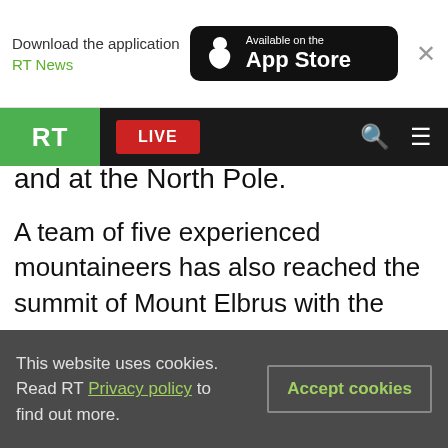[Figure (screenshot): App Store download banner with RT News branding and close button]
[Figure (screenshot): RT website navigation bar with logo, LIVE button, search and menu icons]
and at the North Pole.
A team of five experienced mountaineers has also reached the summit of Mount Elbrus with the Olympic Flame in a special lantern, the Torch Relay Committee revealed on Saturday.
Although commonly known as a mountain, Mount Elbrus is in fact a layered volcano, which last erupted about 2,000 years ago. It has long been a challenge for climbers from across the world, with the first documented ascent of the eastern summit
This website uses cookies. Read RT Privacy policy to find out more.